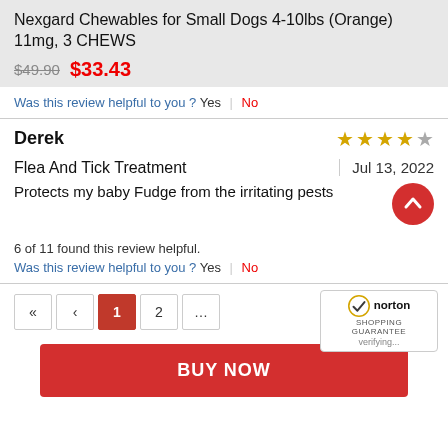Nexgard Chewables for Small Dogs 4-10lbs (Orange) 11mg, 3 CHEWS
$49.90  $33.43
Was this review helpful to you ? Yes | No
Derek  ★★★★☆
Flea And Tick Treatment  |  Jul 13, 2022
Protects my baby Fudge from the irritating pests
6 of 11 found this review helpful.
Was this review helpful to you ? Yes | No
Pagination: << < 1 2 ...
[Figure (logo): Norton Shopping Guarantee badge with checkmark logo and 'verifying...' text]
BUY NOW